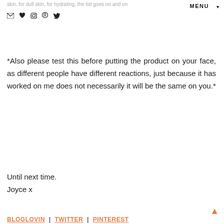skin, for dull skin, for hydrating, the list goes on and on
*Also please test this before putting the product on your face, as different people have different reactions, just because it has worked on me does not necessarily it will be the same on you.*
Until next time.
Joyce x
BLOGLOVIN | TWITTER | PINTEREST
[Figure (other): Advertisement banner with text 'Stop locking up value!' and an image of a crowd forming a lock shape]